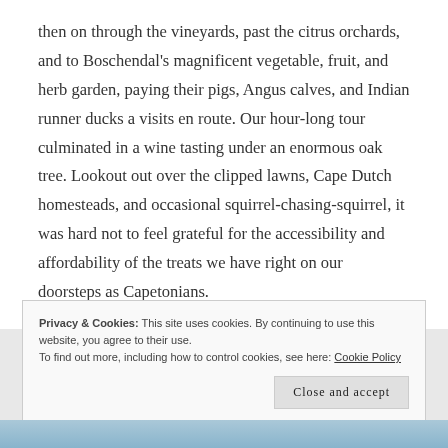then on through the vineyards, past the citrus orchards, and to Boschendal's magnificent vegetable, fruit, and herb garden, paying their pigs, Angus calves, and Indian runner ducks a visits en route. Our hour-long tour culminated in a wine tasting under an enormous oak tree. Lookout out over the clipped lawns, Cape Dutch homesteads, and occasional squirrel-chasing-squirrel, it was hard not to feel grateful for the accessibility and affordability of the treats we have right on our doorsteps as Capetonians.
Privacy & Cookies: This site uses cookies. By continuing to use this website, you agree to their use. To find out more, including how to control cookies, see here: Cookie Policy
Close and accept